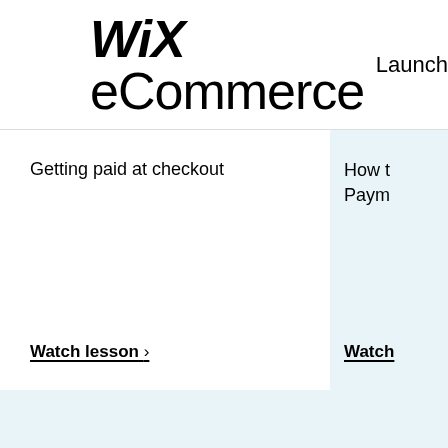WiX eCommerce   Launch
Getting paid at checkout
Watch lesson >
How t…
Paym…
Watch…